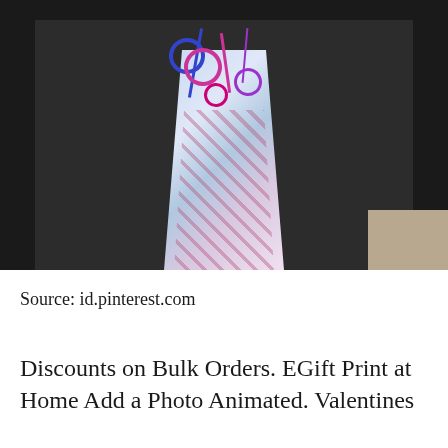[Figure (photo): A gift bouquet wrapped in clear cellophane with colorful curling ribbons (pink, blue, purple) at the top, containing striped items, placed on a dark surface with carpet visible in background.]
Source: id.pinterest.com
Discounts on Bulk Orders. EGift Print at Home Add a Photo Animated. Valentines